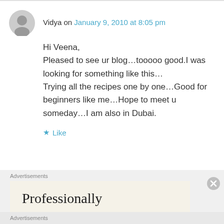Vidya on January 9, 2010 at 8:05 pm
Hi Veena,
Pleased to see ur blog…tooooo good.I was looking for something like this…
Trying all the recipes one by one…Good for beginners like me…Hope to meet u someday…I am also in Dubai.
★ Like
Advertisements
[Figure (other): Advertisement banner with text 'Professionally' on a beige background]
Advertisements